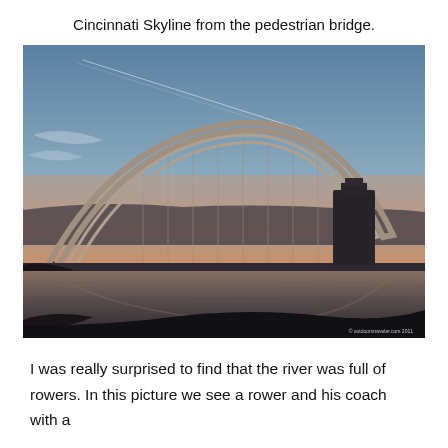Cincinnati Skyline from the pedestrian bridge.
[Figure (photo): Photograph of the Cincinnati skyline and a large arch bridge (the Brent Spence or similar arch bridge) reflected in the Ohio River at dusk/sunset. The sky shows blue and orange hues. A tall building silhouette is visible on the right. A watermark reads '© outdoorstraveler.com 2011' in the bottom right corner.]
I was really surprised to find that the river was full of rowers. In this picture we see a rower and his coach with a